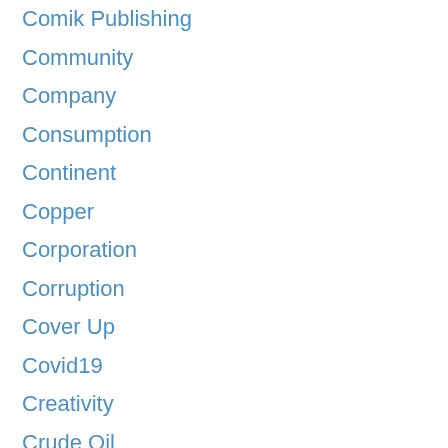Comik Publishing
Community
Company
Consumption
Continent
Copper
Corporation
Corruption
Cover Up
Covid19
Creativity
Crude Oil
Cultural
Culture
Dance
Danger
Deception
Deeply Serene
Demand
Democracy
Democracy And Freedom